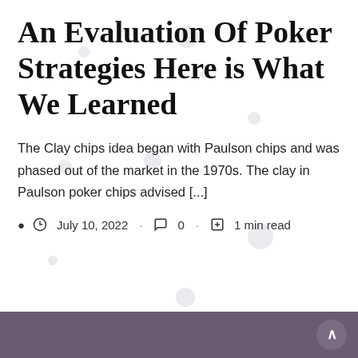An Evaluation Of Poker Strategies Here is What We Learned
The Clay chips idea began with Paulson chips and was phased out of the market in the 1970s. The clay in Paulson poker chips advised [...]
July 10, 2022  ·  0  ·  1 min read